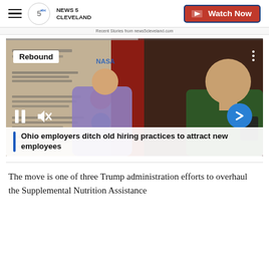News 5 Cleveland — Watch Now
Recent Stories from news5cleveland.com
[Figure (screenshot): Video thumbnail showing two people at what appears to be a job fair or hiring event, with a 'Rebound' badge overlay, video playback controls (pause, mute), a blue next arrow button, and a caption overlay reading 'Ohio employers ditch old hiring practices to attract new employees']
The move is one of three Trump administration efforts to overhaul the Supplemental Nutrition Assistance